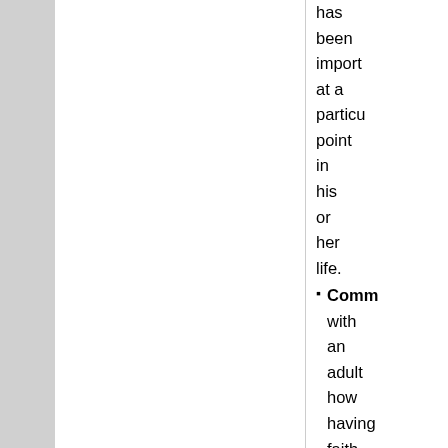has been important at a particular point in his or her life.
Comm with an adult how having faith and hope will help you in your life, and also